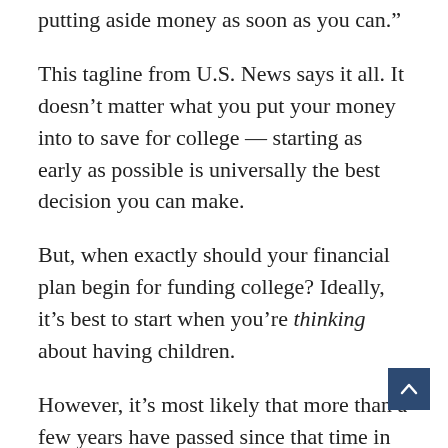putting aside money as soon as you can.”
This tagline from U.S. News says it all. It doesn’t matter what you put your money into to save for college — starting as early as possible is universally the best decision you can make.
But, when exactly should your financial plan begin for funding college? Ideally, it’s best to start when you’re thinking about having children.
However, it’s most likely that more than a few years have passed since that time in your family’s life. So, let’s turn our thoughts from when to where. Here are my top 11 suggestions for the best places to save money for college tuition.